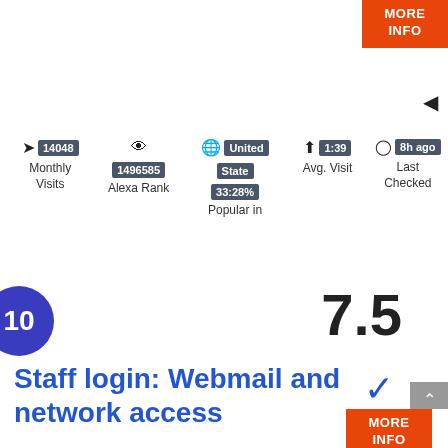[Figure (infographic): Orange MORE INFO button top right]
[Figure (infographic): Left-pointing triangle arrow]
[Figure (infographic): Stats row with icons and badges: 14048 Monthly Visits, eye icon 1496585 Alexa Rank, globe United State 33:28% Popular in, up arrow 1:39 Avg. Visit, clock 8h ago Last Checked]
[Figure (infographic): Blue circle with number 10]
7.5
Staff login: Webmail and network access
[Figure (infographic): Blue checkmark icon]
[Figure (infographic): Gray scrollbar with up arrow and orange MORE INFO button]